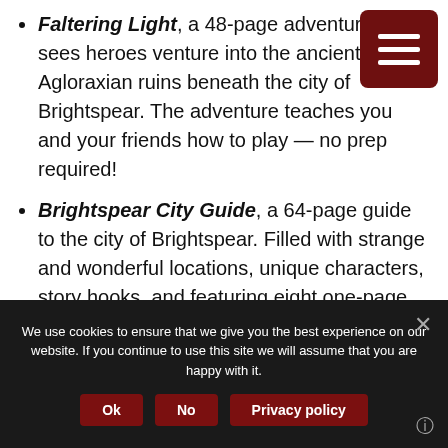Faltering Light, a 48-page adventure that sees heroes venture into the ancient Agloraxian ruins beneath the city of Brightspear. The adventure teaches you and your friends how to play — no prep required!
Brightspear City Guide, a 64-page guide to the city of Brightspear. Filled with strange and wonderful locations, unique characters, story hooks, and featuring eight one-page adventures set in Brightspear, this is the perfect way to continue your Soulbound campaign.
We use cookies to ensure that we give you the best experience on our website. If you continue to use this site we will assume that you are happy with it.